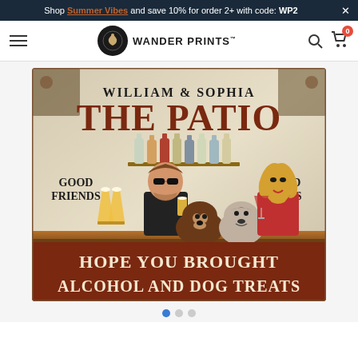Shop Summer Vibes and save 10% for order 2+ with code: WP2
[Figure (logo): Wander Prints logo with hamburger menu, search icon, and cart icon showing 0 items]
[Figure (photo): Personalized patio sign for William & Sophia: 'THE PATIO - Good Friends, Good Times - Hope You Brought Alcohol and Dog Treats' with cartoon couple and dogs illustration]
[Figure (other): Carousel navigation dots, first dot active (blue), two inactive gray dots]